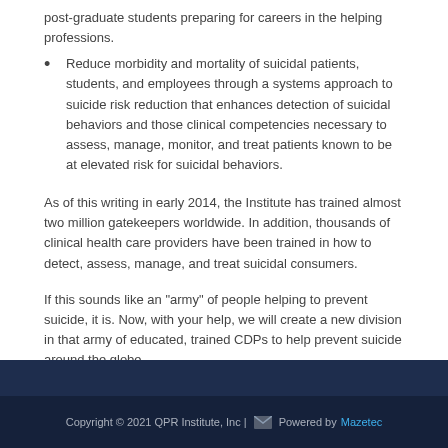post-graduate students preparing for careers in the helping professions.
Reduce morbidity and mortality of suicidal patients, students, and employees through a systems approach to suicide risk reduction that enhances detection of suicidal behaviors and those clinical competencies necessary to assess, manage, monitor, and treat patients known to be at elevated risk for suicidal behaviors.
As of this writing in early 2014, the Institute has trained almost two million gatekeepers worldwide. In addition, thousands of clinical health care providers have been trained in how to detect, assess, manage, and treat suicidal consumers.
If this sounds like an "army" of people helping to prevent suicide, it is. Now, with your help, we will create a new division in that army of educated, trained CDPs to help prevent suicide around the globe.
Copyright © 2021 QPR Institute, Inc | Powered by Mazetec